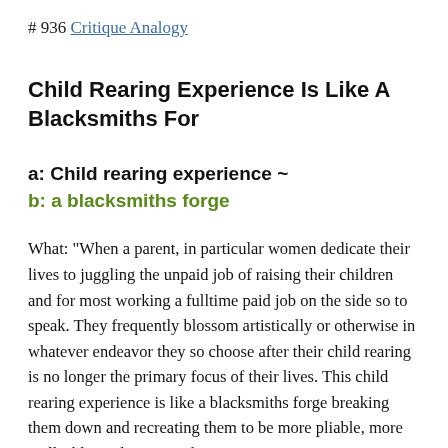# 936 Critique Analogy
Child Rearing Experience Is Like A Blacksmiths For
a: Child rearing experience ~
b: a blacksmiths forge
What: "When a parent, in particular women dedicate their lives to juggling the unpaid job of raising their children and for most working a fulltime paid job on the side so to speak. They frequently blossom artistically or otherwise in whatever endeavor they so choose after their child rearing is no longer the primary focus of their lives. This child rearing experience is like a blacksmiths forge breaking them down and recreating them to be more pliable, more malleable, and stronger than ever."